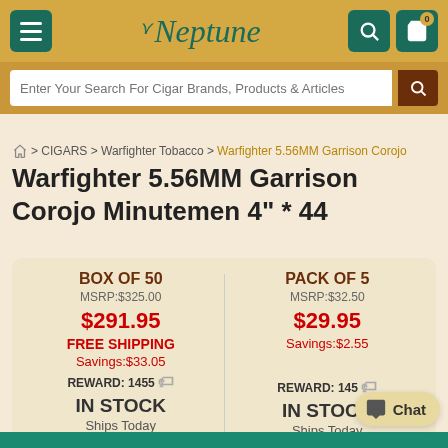Neptune Cigars - header navigation bar
Enter Your Search For Cigar Brands, Products & Articles
🏠 > CIGARS > Warfighter Tobacco > Warfighter 5.56MM Garrison Corojo
Warfighter 5.56MM Garrison Corojo Minutemen 4" * 44
|  | BOX OF 50 | PACK OF 5 |
| --- | --- | --- |
| MSRP | $325.00 | $32.50 |
| Sale Price | $291.95 | $29.95 |
| Free Shipping | FREE SHIPPING |  |
| Savings | $33.05 | $2.55 |
| Reward | 1455 | 145 |
| Availability | IN STOCK | IN STOCK |
| Ships | Ships Today | Ships Today |
| Other | Check In Store | Check In Store |